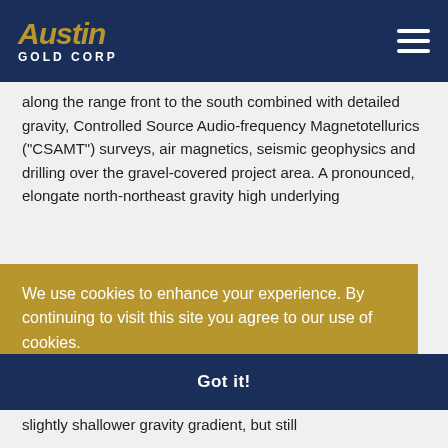[Figure (logo): Austin Gold Corp logo with gold italic text 'Austin' and white bold 'GOLD CORP' below, on dark navy background]
along the range front to the south combined with detailed gravity, Controlled Source Audio-frequency Magnetotellurics ("CSAMT") surveys, air magnetics, seismic geophysics and drilling over the gravel-covered project area. A pronounced, elongate north-northeast gravity high underlying
We use cookies to enhance your experience. By continuing to visit this site you agree to our use of cookies.
Learn more
ric
Got it!
a slightly shallower gravity gradient, but still